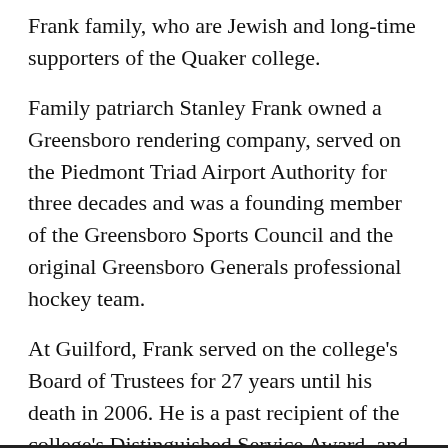Frank family, who are Jewish and long-time supporters of the Quaker college.
Family patriarch Stanley Frank owned a Greensboro rendering company, served on the Piedmont Triad Airport Authority for three decades and was a founding member of the Greensboro Sports Council and the original Greensboro Generals professional hockey team.
At Guilford, Frank served on the college's Board of Trustees for 27 years until his death in 2006. He is a past recipient of the college's Distinguished Service Award, and the college has a scholarship named for him and his late wife, Dorothy.